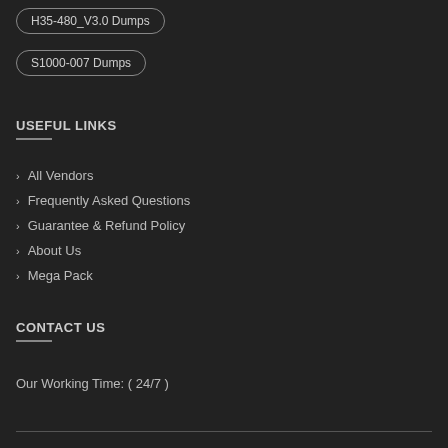H35-480_V3.0 Dumps
S1000-007 Dumps
USEFUL LINKS
All Vendors
Frequently Asked Questions
Guarantee & Refund Policy
About Us
Mega Pack
CONTACT US
Our Working Time: ( 24/7 )